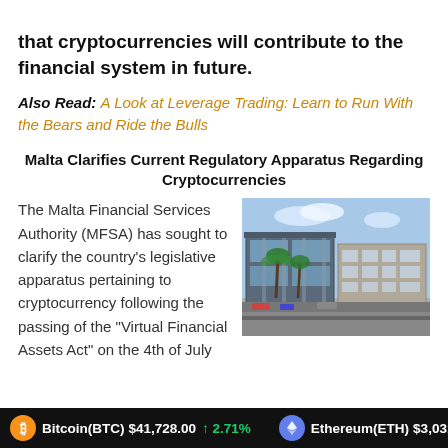that cryptocurrencies will contribute to the financial system in future.
Also Read: A Look at Leverage Trading: Learn to Run With the Bears and Ride the Bulls
Malta Clarifies Current Regulatory Apparatus Regarding Cryptocurrencies
[Figure (photo): Exterior photo of the Malta Financial Services Authority (MFSA) building, a modern structure with glass facade and palm trees in front]
The Malta Financial Services Authority (MFSA) has sought to clarify the country's legislative apparatus pertaining to cryptocurrency following the passing of the "Virtual Financial Assets Act" on the 4th of July
Bitcoin(BTC) $41,728.00 ↑ 2.71%    Ethereum(ETH) $3,031.32